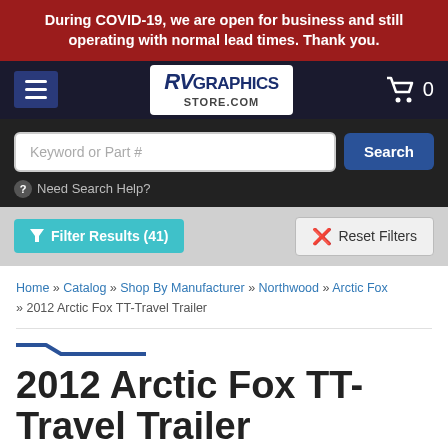During COVID-19, we are open for business and still operating with normal lead times. Thank you.
[Figure (logo): RVGraphicsStore.com logo in navigation bar with hamburger menu and cart icon]
Keyword or Part #
Search
Need Search Help?
Filter Results (41)
Reset Filters
Home » Catalog » Shop By Manufacturer » Northwood » Arctic Fox » 2012 Arctic Fox TT-Travel Trailer
2012 Arctic Fox TT-Travel Trailer